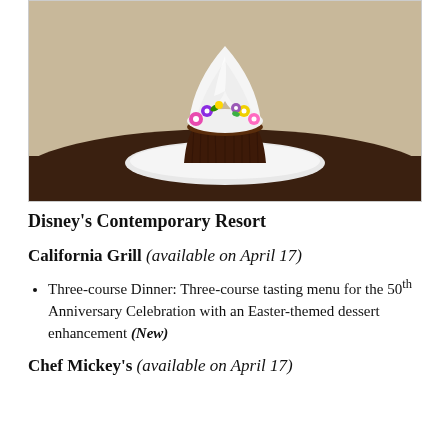[Figure (photo): A decorated cupcake with white frosting and colorful floral decorations on a white plate on a dark wooden table.]
Disney's Contemporary Resort
California Grill (available on April 17)
Three-course Dinner: Three-course tasting menu for the 50th Anniversary Celebration with an Easter-themed dessert enhancement (New)
Chef Mickey's (available on April 17)